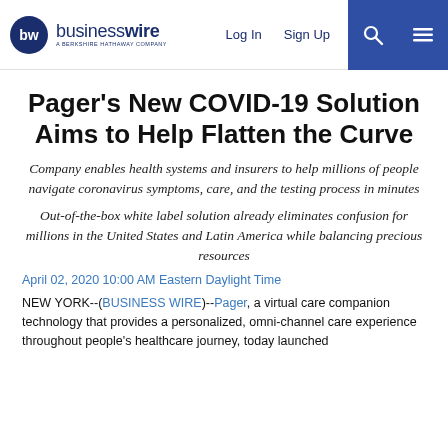businesswire — A Berkshire Hathaway Company | Log In | Sign Up
Pager's New COVID-19 Solution Aims to Help Flatten the Curve
Company enables health systems and insurers to help millions of people navigate coronavirus symptoms, care, and the testing process in minutes
Out-of-the-box white label solution already eliminates confusion for millions in the United States and Latin America while balancing precious resources
April 02, 2020 10:00 AM Eastern Daylight Time
NEW YORK--(BUSINESS WIRE)--Pager, a virtual care companion technology that provides a personalized, omni-channel care experience throughout people's healthcare journey, today launched